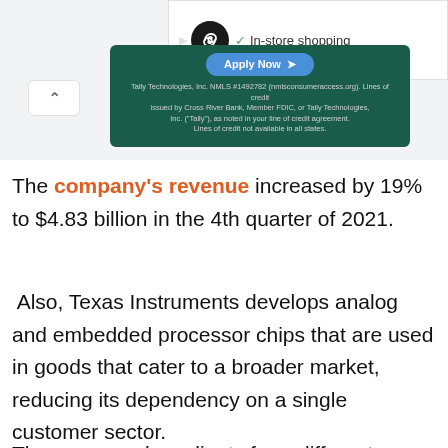[Figure (screenshot): Browser ad bar at top right showing a black circle logo with an infinity/loop symbol, a play triangle icon, a teal X close button, a green checkmark, and the text 'In-store shopping']
[Figure (screenshot): Tally Technologies advertisement card with dark green background, 'Apply Now' button in blue, and fine print disclaimer text about NMLS, Cross River Bank, Member FDIC, and Lines of credit. A white chevron-up button appears to the left.]
The company's revenue increased by 19% to $4.83 billion in the 4th quarter of 2021.
Also, Texas Instruments develops analog and embedded processor chips that are used in goods that cater to a broader market, reducing its dependency on a single customer sector.
The company has clients from different industries,